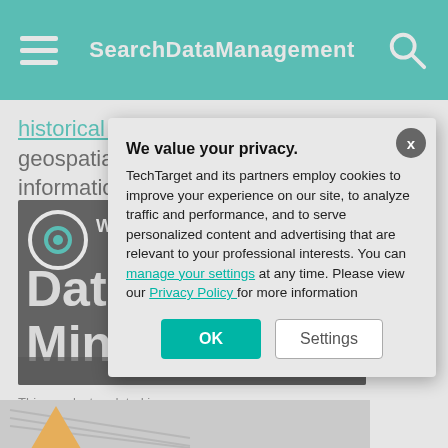SearchDataManagement
historical data, weather data and geospatial data gives scientists better information to predict natural disasters.
[Figure (screenshot): Video thumbnail: 'What is Data Mining and Why...' with TechTarget branding on dark background showing text 'Data Mini...']
This was last updated in
We value your privacy. TechTarget and its partners employ cookies to improve your experience on our site, to analyze traffic and performance, and to serve personalized content and advertising that are relevant to your professional interests. You can manage your settings at any time. Please view our Privacy Policy for more information